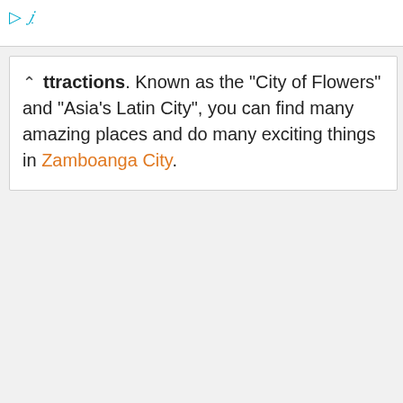[Figure (screenshot): Top browser bar area with ad icon and blue italic link text partially visible]
ttractions. Known as the "City of Flowers" and "Asia's Latin City", you can find many amazing places and do many exciting things in Zamboanga City.